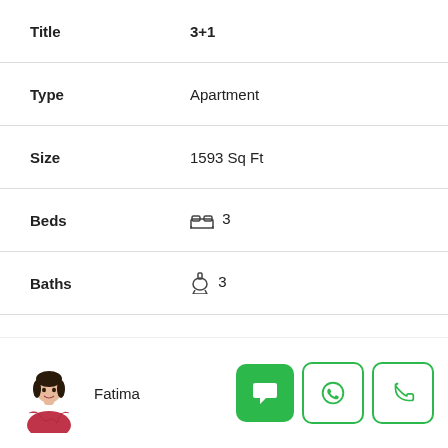| Field | Value |
| --- | --- |
| Title | 3+1 |
| Type | Apartment |
| Size | 1593 Sq Ft |
| Beds | 3 |
| Baths | 3 |
| Price | ₺0.00 / Ask For Price |
| More Information |  |
| Title | 5+2 |
Fatima